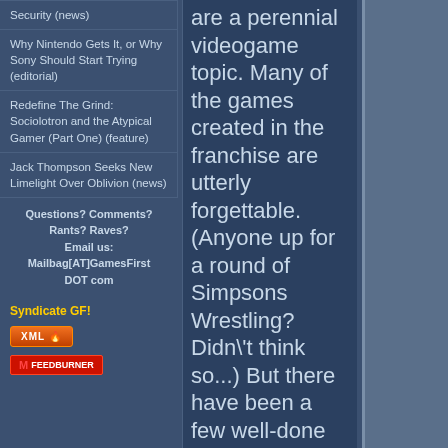Security (news)
Why Nintendo Gets It, or Why Sony Should Start Trying (editorial)
Redefine The Grind: Sociolotron and the Atypical Gamer (Part One) (feature)
Jack Thompson Seeks New Limelight Over Oblivion (news)
Questions? Comments? Rants? Raves? Email us: Mailbag[AT]GamesFirst DOT com
Syndicate GF!
[Figure (logo): XML RSS feed badge with flame icon]
[Figure (logo): FeedBurner subscription badge]
are a perennial videogame topic. Many of the games created in the franchise are utterly forgettable. (Anyone up for a round of Simpsons Wrestling? Didn't think so...) But there have been a few well-done Simpsons games: Simpsons Hit and Run (a CTA